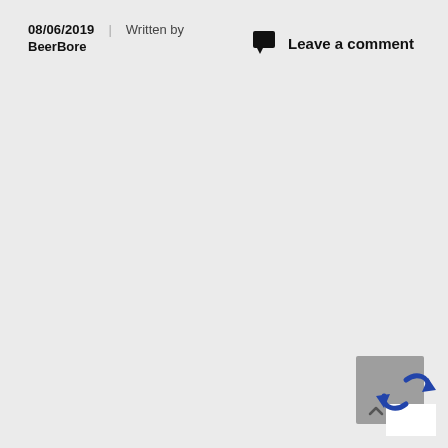08/06/2019 | Written by BeerBore
Leave a comment
[Figure (other): A small widget in the bottom-right corner showing a gray square with a blue recycling/refresh arrow icon overlaid.]